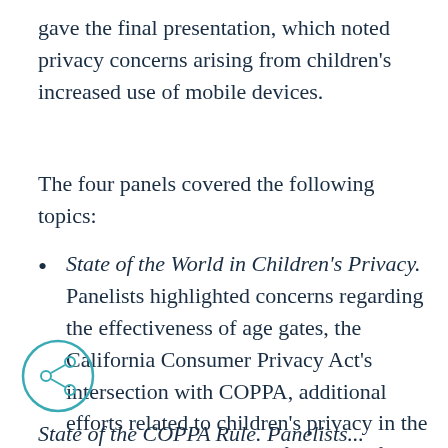gave the final presentation, which noted privacy concerns arising from children's increased use of mobile devices.
The four panels covered the following topics:
State of the World in Children's Privacy. Panelists highlighted concerns regarding the effectiveness of age gates, the California Consumer Privacy Act's intersection with COPPA, additional efforts related to children's privacy in the United Kingdom, and safe harbors for COPPA compliance.
State of the COPPA Rule. Panelists...